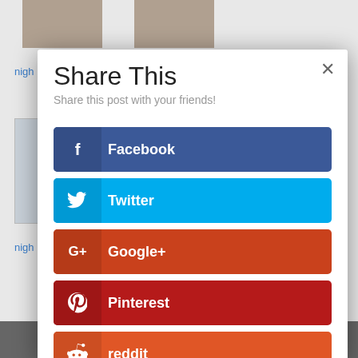[Figure (screenshot): Background webpage with photo thumbnails of people in business attire and blue link text reading 'nigh']
Share This
Share this post with your friends!
Facebook
Twitter
Google+
Pinterest
reddit
LinkedIn